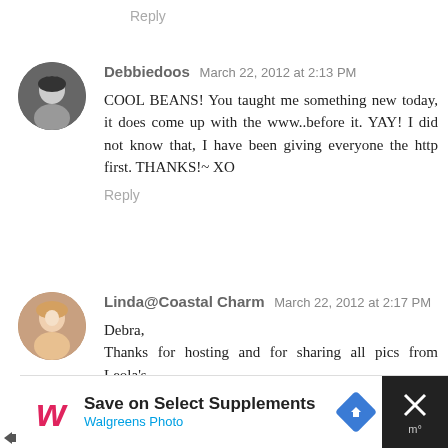Reply
Debbiedoos  March 22, 2012 at 2:13 PM
COOL BEANS! You taught me something new today, it does come up with the www..before it. YAY! I did not know that, I have been giving everyone the http first. THANKS!~ XO
Reply
Linda@Coastal Charm  March 22, 2012 at 2:17 PM
Debra,
Thanks for hosting and for sharing all pics from Leola's.

Blessings,
Linda
Reply
[Figure (other): Walgreens Photo advertisement banner: Save on Select Supplements, with Walgreens W logo and navigation arrow icon, and close button on right]